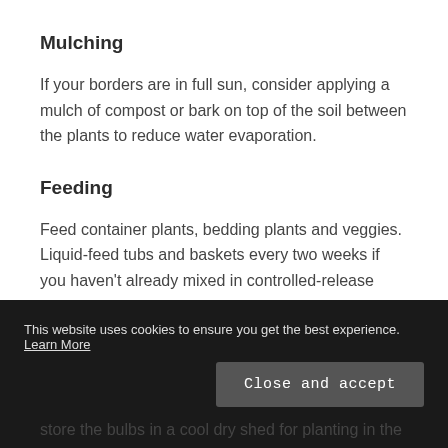Mulching
If your borders are in full sun, consider applying a mulch of compost or bark on top of the soil between the plants to reduce water evaporation.
Feeding
Feed container plants, bedding plants and veggies. Liquid-feed tubs and baskets every two weeks if you haven't already mixed in controlled-release fertiliser.
Bulbs
This website uses cookies to ensure you get the best experience. Learn More
store the bulbs in a cool dry shed for planting in the